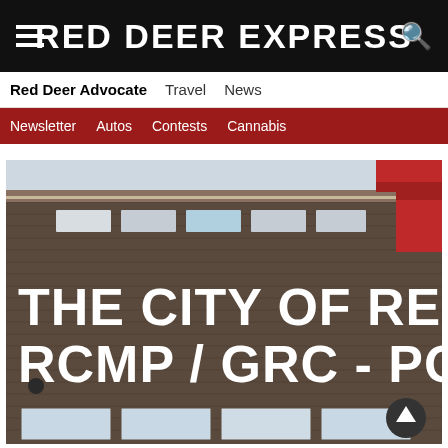RED DEER EXPRESS
Red Deer Advocate  Travel  News
Newsletter  Autos  Contests  Cannabis
[Figure (photo): Exterior of The City of Red Deer RCMP / GRC - Police building, showing a brick facade with large white lettering reading 'THE CITY OF RED DEER RCMP / GRC - POLICE', red architectural accents, and windows.]